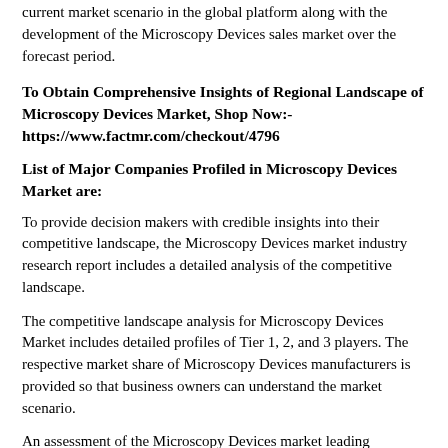current market scenario in the global platform along with the development of the Microscopy Devices sales market over the forecast period.
To Obtain Comprehensive Insights of Regional Landscape of Microscopy Devices Market, Shop Now:- https://www.factmr.com/checkout/4796
List of Major Companies Profiled in Microscopy Devices Market are:
To provide decision makers with credible insights into their competitive landscape, the Microscopy Devices market industry research report includes a detailed analysis of the competitive landscape.
The competitive landscape analysis for Microscopy Devices Market includes detailed profiles of Tier 1, 2, and 3 players. The respective market share of Microscopy Devices manufacturers is provided so that business owners can understand the market scenario.
An assessment of the Microscopy Devices market leading manufacturers' winning strategies is provided, along with recommendations on what is performing well in the Microscopy Devices market landscape.